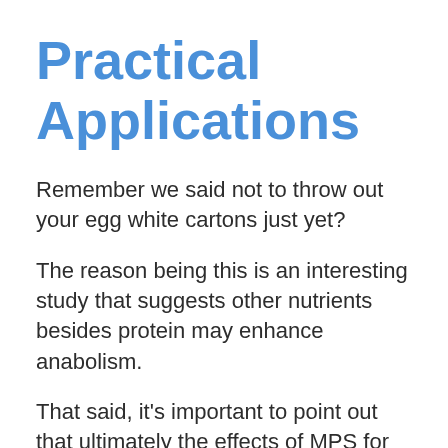Practical Applications
Remember we said not to throw out your egg white cartons just yet?
The reason being this is an interesting study that suggests other nutrients besides protein may enhance anabolism.
That said, it's important to point out that ultimately the effects of MPS for muscle growth need to be considered over time